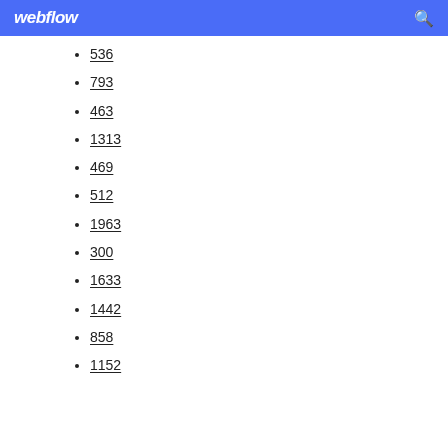webflow
536
793
463
1313
469
512
1963
300
1633
1442
858
1152